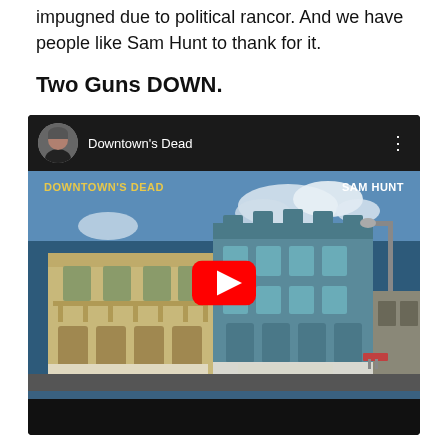impugned due to political rancor. And we have people like Sam Hunt to thank for it.
Two Guns DOWN.
[Figure (screenshot): YouTube video embed showing Sam Hunt 'Downtown's Dead' music video thumbnail. Black top bar with circular avatar of a man, title 'Downtown's Dead', and three-dot menu. Main image shows two old ornate buildings on a street with a red YouTube play button overlay. Text overlay: 'DOWNTOWN'S DEAD' (yellow, left) and 'SAM HUNT' (white, right). Black bottom bar.]